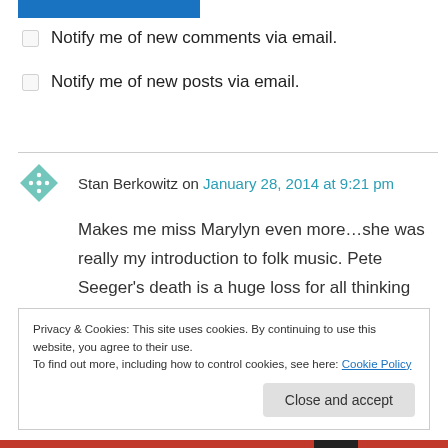[Figure (other): Blue rectangular button/bar at top of page]
Notify me of new comments via email.
Notify me of new posts via email.
Stan Berkowitz on January 28, 2014 at 9:21 pm
Makes me miss Marylyn even more…she was really my introduction to folk music. Pete Seeger's death is a huge loss for all thinking people. RIP Pete.
Privacy & Cookies: This site uses cookies. By continuing to use this website, you agree to their use.
To find out more, including how to control cookies, see here: Cookie Policy
Close and accept